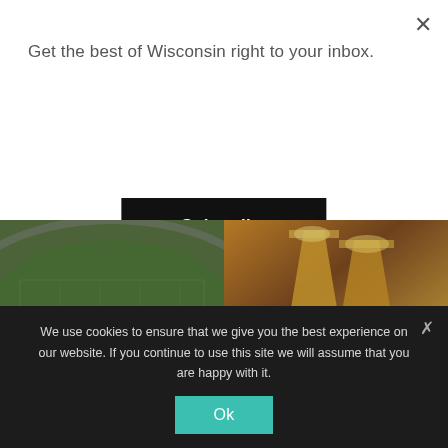Get the best of Wisconsin right to your inbox.
Subscribe
[Figure (photo): Aerial view of Lambeau Field Stadium football field with text overlay reading LAMBEAU FIELD STADIUM]
[Figure (photo): People clinking beer glasses at a bar or gathering]
ABOUT FABULOUS WISCONSIN    CONTACT US    PRIVACY POLICY & TERMS OF USE    FABULOUS MEDIA GROUP
We use cookies to ensure that we give you the best experience on our website. If you continue to use this site we will assume that you are happy with it.
Ok